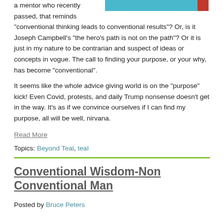[Figure (illustration): Partial image banner with teal and red color blocks at top right of page]
a mentor who recently passed, that reminds “conventional thinking leads to conventional results”? Or, is it Joseph Campbell’s “the hero’s path is not on the path”? Or it is just in my nature to be contrarian and suspect of ideas or concepts in vogue. The call to finding your purpose, or your why, has become “conventional”.
It seems like the whole advice giving world is on the “purpose” kick! Even Covid, protests, and daily Trump nonsense doesn’t get in the way. It’s as if we convince ourselves if I can find my purpose, all will be well, nirvana.
Read More
Topics: Beyond Teal, teal
Conventional Wisdom-Non Conventional Man
Posted by Bruce Peters